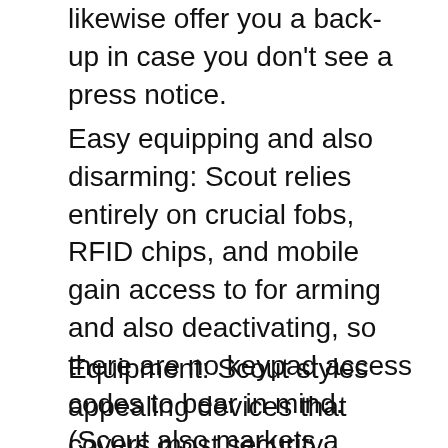likewise offer you a back-up in case you don't see a press notice.
Easy equipping and also disarming: Scout relies entirely on crucial fobs, RFID chips, and mobile gain access to for arming and also deactivating, so there are no keypad access codes to bear in mind. (Scout also markets a keypad for individuals wanting to give temporary accessibility to guests.).
Equipment: Scout styles appealing devices that covers most security demands. The system is compatible with many smart residence systems like Amazon.com Alexa, Google Assistant †, Z-Wave, as well as Zigbee.